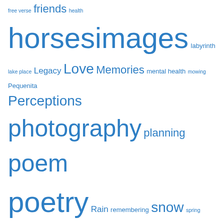free verse friends health horses images labyrinth lake place Legacy Love Memories mental health mowing Pequenita Perceptions photography planning poem poetry Rain remembering snow spring trees weather Winter Wintervale Wintervale Ranch words on images
Pages
About *this* John W. Hays
Welcome!
Meta